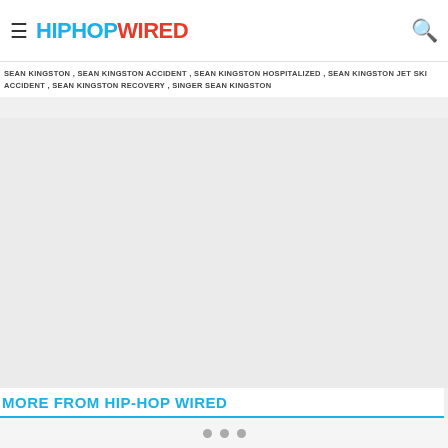HIPHOPWIRED
SEAN KINGSTON , SEAN KINGSTON ACCIDENT , SEAN KINGSTON HOSPITALIZED , SEAN KINGSTON JET SKI ACCIDENT , SEAN KINGSTON RECOVERY , SINGER SEAN KINGSTON
MORE FROM HIP-HOP WIRED